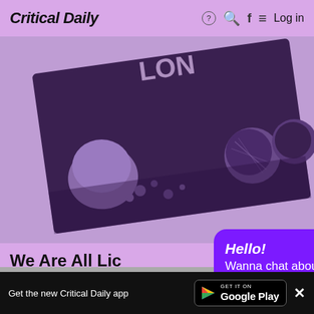Critical Daily  Log in
[Figure (photo): A purple-tinted black and white photograph showing rocks, pebbles, and coral-like organic forms on a dark background. A tilted card or book is visible in the center.]
We Are All Lic
Lenka Hámošová
[Figure (infographic): A purple chat popup box with text: Hello! Wanna chat about critical design? And an Open button.]
Get the new Critical Daily app  GET IT ON Google Play  ✕